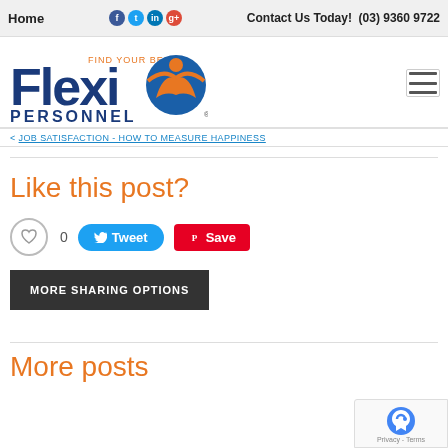Home   Contact Us Today!  (03) 9360 9722
[Figure (logo): Flexi Personnel logo with orange figure and tagline 'Find Your Best']
< JOB SATISFACTION - HOW TO MEASURE HAPPINESS
Like this post?
[Figure (infographic): Social sharing buttons: heart like button with count 0, Tweet button, Save (Pinterest) button]
MORE SHARING OPTIONS
More posts